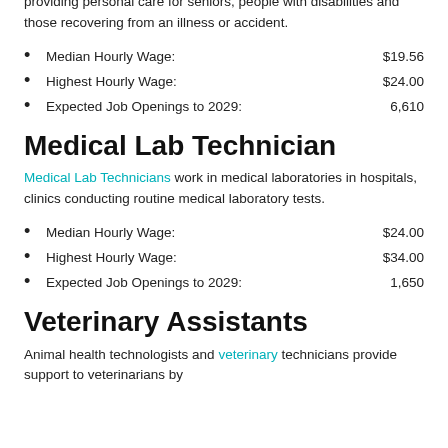providing personal care for seniors, people with disabilities and those recovering from an illness or accident.
Median Hourly Wage: $19.56
Highest Hourly Wage: $24.00
Expected Job Openings to 2029: 6,610
Medical Lab Technician
Medical Lab Technicians work in medical laboratories in hospitals, clinics conducting routine medical laboratory tests.
Median Hourly Wage: $24.00
Highest Hourly Wage: $34.00
Expected Job Openings to 2029: 1,650
Veterinary Assistants
Animal health technologists and veterinary technicians provide support to veterinarians by